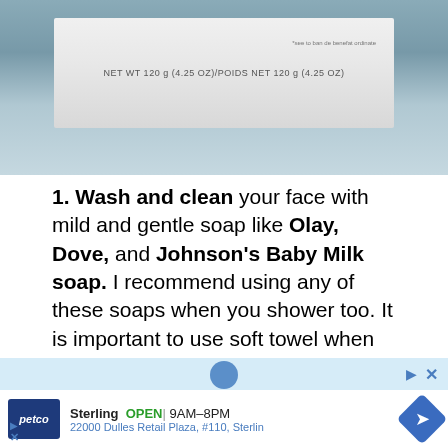[Figure (photo): Photo of a soap box with text: NET WT 120 g (4.25 OZ)/POIDS NET 120 g (4.25 OZ)]
1. Wash and clean your face with mild and gentle soap like Olay, Dove, and Johnson's Baby Milk soap. I recommend using any of these soaps when you shower too. It is important to use soft towel when you wipe and dry your skin.
[Figure (screenshot): Advertisement for Petco store in Sterling. Shows: Sterling OPEN 9AM-8PM, 22000 Dulles Retail Plaza, #110, Sterling]